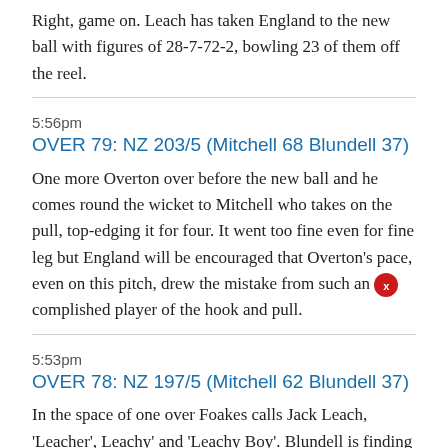Right, game on. Leach has taken England to the new ball with figures of 28-7-72-2, bowling 23 of them off the reel.
5:56pm
OVER 79: NZ 203/5 (Mitchell 68 Blundell 37)
One more Overton over before the new ball and he comes round the wicket to Mitchell who takes on the pull, top-edging it for four. It went too fine even for fine leg but England will be encouraged that Overton's pace, even on this pitch, drew the mistake from such an accomplished player of the hook and pull.
5:53pm
OVER 78: NZ 197/5 (Mitchell 62 Blundell 37)
In the space of one over Foakes calls Jack Leach, 'Leacher', Leachy' and 'Leachy Boy'. Blundell is finding it more difficult to get him away than Mitchell who plays him